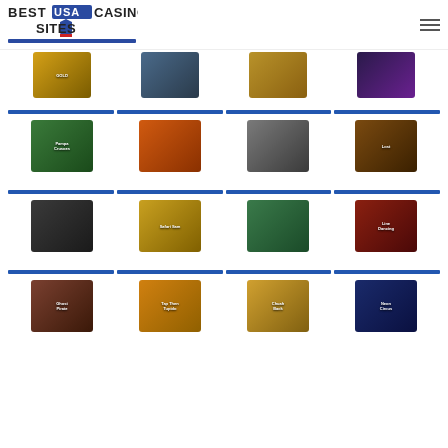Best USA Casino Sites - navigation header with logo and hamburger menu
[Figure (screenshot): Grid of casino slot game thumbnails arranged in 4 rows of 4 columns with blue separator bars above each row. Row 1 (partial): Gold, dark cinematic, gold/treasure, colorful slots. Row 2: Pampa Crusoes, fairy/character game, gladiator/warrior, Lost. Row 3: bearded man/treasure hunter, Safari Sam, snake/lime game, Line Dancing. Row 4: Ghost/treasure, Tap Then Tupido, Chuah Back, Neon/circus game.]